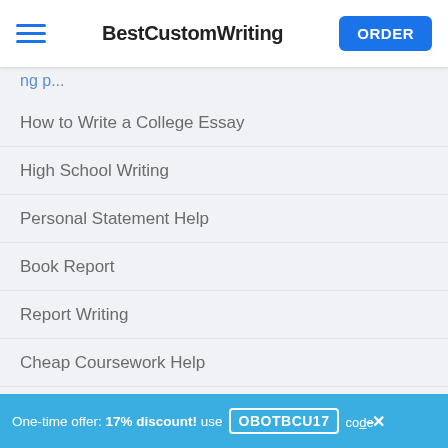BestCustomWriting | ORDER
How to Write a College Essay
High School Writing
Personal Statement Help
Book Report
Report Writing
Cheap Coursework Help
Literary Research Paper
Essay Assistance
Academic Writing Services
Coursework Help
Thesis Papers for Sale
One-time offer: 17% discount! use OBOTBCU17 code